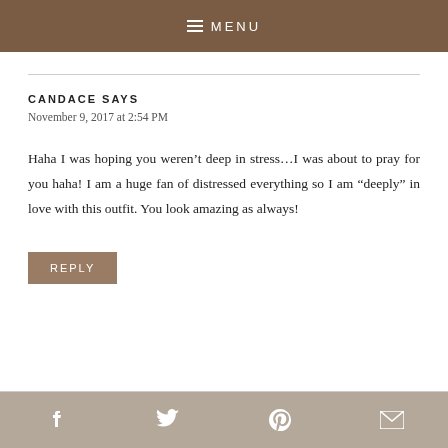MENU
CANDACE SAYS
November 9, 2017 at 2:54 PM
Haha I was hoping you weren't deep in stress…I was about to pray for you haha! I am a huge fan of distressed everything so I am “deeply” in love with this outfit. You look amazing as always!
REPLY
f  twitter  P  mail